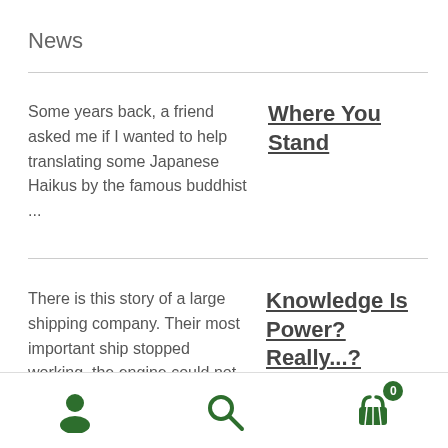News
Some years back, a friend asked me if I wanted to help translating some Japanese Haikus by the famous buddhist ...
Where You Stand
There is this story of a large shipping company. Their most important ship stopped working, the engine could not be ...
Knowledge Is Power? Really...?
[Figure (infographic): Mobile app bottom navigation bar with person icon, search icon, and shopping cart icon with badge showing 0]